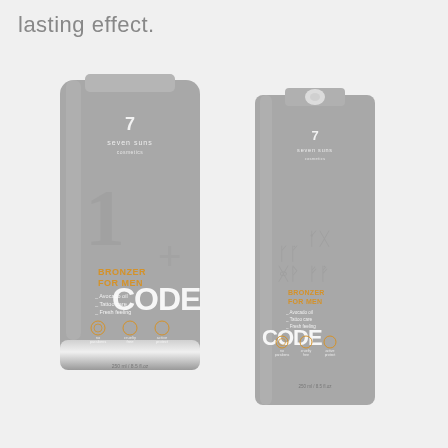lasting effect.
[Figure (photo): Two Seven Suns Cosmetics CODE Bronzer For Men products shown side by side — a large grey tube (250ml / 8.5 fl.oz) on the left and a grey sachet/packet on the right. Both feature the brand logo with '7 seven suns cosmetics', 'CODE' text vertically, rune-style decorative graphics, 'BRONZER FOR MEN' in orange/gold, bullet points listing 'Avocado oil', 'Tattoo care', 'Fresh feeling', and three icons at the bottom (no parabens, cruelty-free, active protect).]